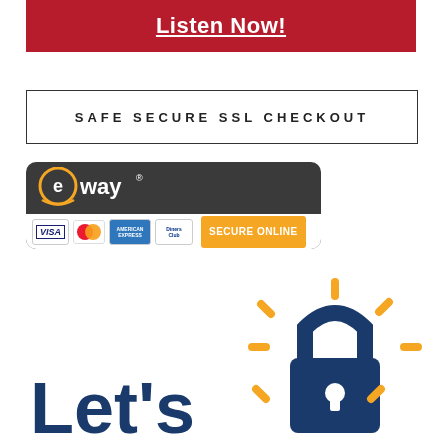[Figure (other): Red button with white underlined text 'Listen Now!']
[Figure (other): Safe Secure SSL Checkout box with border]
[Figure (other): eWay secure online payment banner showing Visa, MasterCard, American Express, Diners Club logos and 'SECURE ONLINE' button]
[Figure (illustration): Partial illustration showing 'Let's' text in dark blue and a golden padlock/security icon with rays, indicating SSL/secure checkout theme]